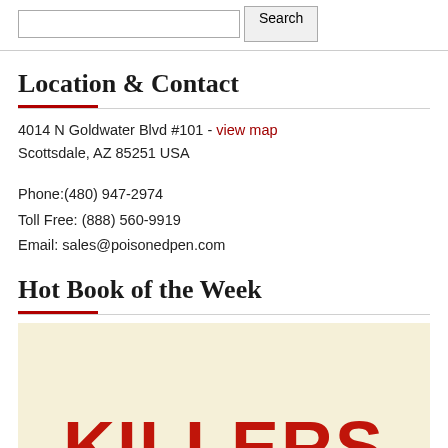[Figure (screenshot): Search bar with text input field and Search button]
Location & Contact
4014 N Goldwater Blvd #101 - view map
Scottsdale, AZ 85251 USA
Phone:(480) 947-2974
Toll Free: (888) 560-9919
Email: sales@poisonedpen.com
Hot Book of the Week
[Figure (photo): Book cover image showing large bold red text 'KILLERS' on a cream/yellow background, partially cropped]